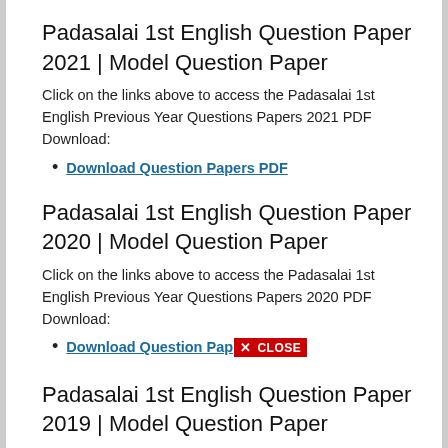Padasalai 1st English Question Paper 2021 | Model Question Paper
Click on the links above to access the Padasalai 1st English Previous Year Questions Papers 2021 PDF Download:
Download Question Papers PDF
Padasalai 1st English Question Paper 2020 | Model Question Paper
Click on the links above to access the Padasalai 1st English Previous Year Questions Papers 2020 PDF Download:
Download Question Pap× CLOSE
Padasalai 1st English Question Paper 2019 | Model Question Paper
Click on the links above to access the Padasalai 1st English Previous